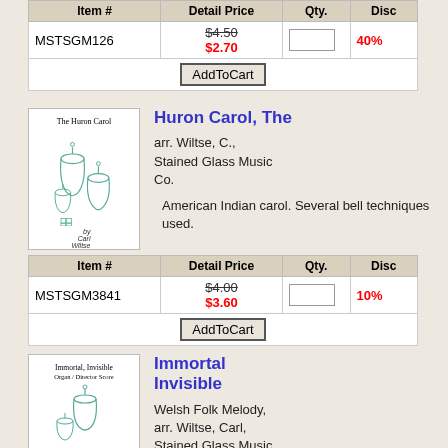| Item # | Detail Price | Qty. | Disc |
| --- | --- | --- | --- |
| MSTSGM126 | $4.50 / $2.70 |  | 40% |
|  | AddToCart |  |  |
[Figure (illustration): Cover of 'The Huron Carol' sheet music showing hand bells]
Huron Carol, The
arr. Wiltse, C., Stained Glass Music Co.
American Indian carol. Several bell techniques used.
| Item # | Detail Price | Qty. | Disc |
| --- | --- | --- | --- |
| MSTSGM3841 | $4.00 / $3.60 |  | 10% |
|  | AddToCart |  |  |
[Figure (illustration): Cover of 'Immortal, Invisible' sheet music showing hand bells]
Immortal Invisible
Welsh Folk Melody, arr. Wiltse, Carl, Stained Glass Music Co.